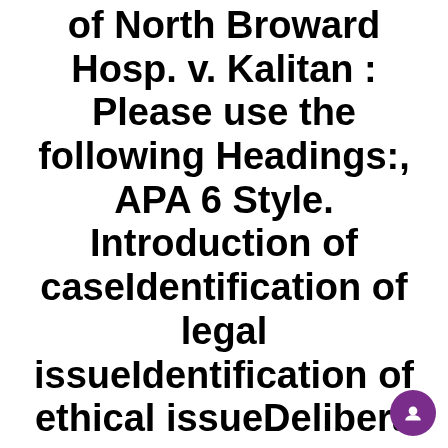of North Broward Hosp. v. Kalitan : Please use the following Headings:, APA 6 Style. Introduction of caseIdentification of legal issueIdentification of ethical issueDelibera
April 21, 2022 / in Uncategorized / by Developer
Legal-Ethical Paper: Case of North Broward Hosp. v. Kalitan : Please use the following Headings:, APA 6 Style.
Introduction of case
Identification of legal issue